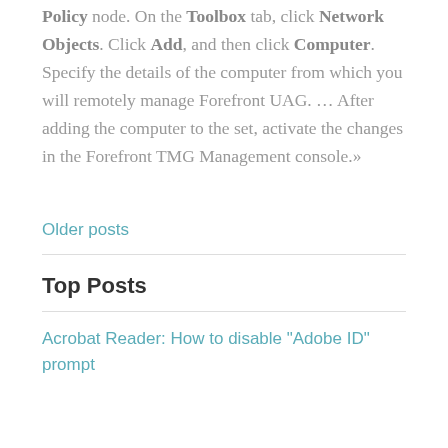Policy node. On the Toolbox tab, click Network Objects. Click Add, and then click Computer. Specify the details of the computer from which you will remotely manage Forefront UAG. … After adding the computer to the set, activate the changes in the Forefront TMG Management console.»
Older posts
Top Posts
Acrobat Reader: How to disable "Adobe ID" prompt